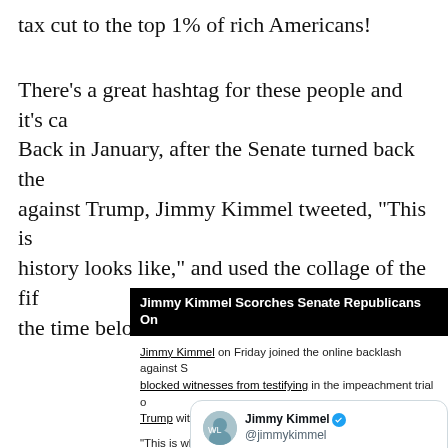tax cut to the top 1% of rich Americans!
There's a great hashtag for these people and it's ca... Back in January, after the Senate turned back the against Trump, Jimmy Kimmel tweeted, "This is history looks like," and used the collage of the fif... the time below.
[Figure (screenshot): Article card with black header reading 'Jimmy Kimmel Scorches Senate Republicans On ...' with article text about Jimmy Kimmel joining online backlash against senators who blocked witnesses from testifying in the impeachment trial of Trump.]
[Figure (screenshot): Twitter/X tweet card showing Jimmy Kimmel @jimmykimmel with verified badge and partial tweet text 'This is what the wrong side of history looks like...']